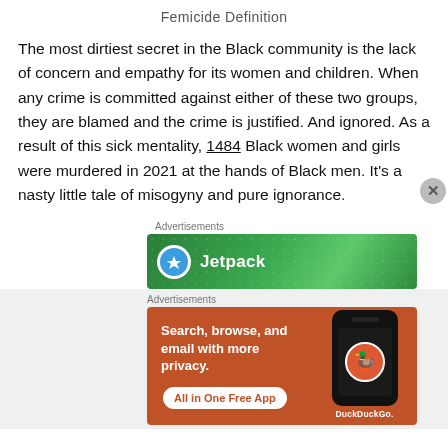Femicide Definition
The most dirtiest secret in the Black community is the lack of concern and empathy for its women and children. When any crime is committed against either of these two groups, they are blamed and the crime is justified. And ignored. As a result of this sick mentality, 1484 Black women and girls were murdered in 2021 at the hands of Black men. It’s a nasty little tale of misogyny and pure ignorance.
Advertisements
[Figure (screenshot): Jetpack advertisement banner with green background and dots pattern, showing Jetpack logo and name]
Advertisements
[Figure (screenshot): DuckDuckGo advertisement on orange background: Search, browse, and email with more privacy. All in One Free App. Shows phone with DuckDuckGo logo.]